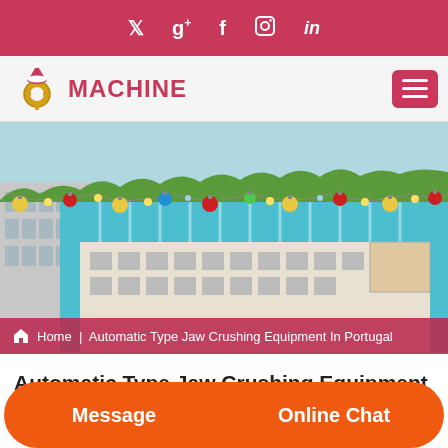Social media icons: Twitter, Google+, Facebook, Instagram, LinkedIn
[Figure (logo): Machine website logo with gear and Santa hat icon and red MACHINE text, with hamburger menu button]
[Figure (photo): Aerial view of industrial factory/warehouse complex with Christmas ornament decorations hung along the roofline, teal/blue roofs, rendered in 3D style]
Home | Automatic Type Jaw Crushing Equipment In Portugal
Automatic Type Jaw Crushing Equipment In
Message
Online Chat